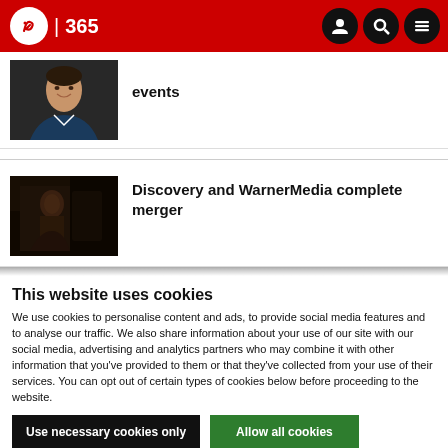IBC 365
events
[Figure (photo): Thumbnail photo of a young man smiling against a dark background]
Discovery and WarnerMedia complete merger
[Figure (photo): Dark-toned thumbnail photo with a figure in low lighting]
This website uses cookies
We use cookies to personalise content and ads, to provide social media features and to analyse our traffic. We also share information about your use of our site with our social media, advertising and analytics partners who may combine it with other information that you've provided to them or that they've collected from your use of their services. You can opt out of certain types of cookies below before proceeding to the website.
Use necessary cookies only
Allow all cookies
Show details